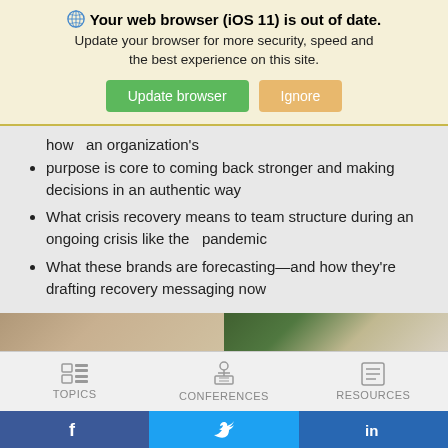[Figure (screenshot): Browser update notification banner with globe icon, bold text 'Your web browser (iOS 11) is out of date.', subtext 'Update your browser for more security, speed and the best experience on this site.', green 'Update browser' button and orange 'Ignore' button]
how  an organization's
purpose is core to coming back stronger and making decisions in an authentic way
What crisis recovery means to team structure during an ongoing crisis like the  pandemic
What these brands are forecasting—and how they're drafting recovery messaging now
[Figure (photo): Partial image strip showing two photo thumbnails side by side]
[Figure (screenshot): Navigation bar with TOPICS, CONFERENCES, RESOURCES icons and labels]
[Figure (screenshot): Social media bar with Facebook, Twitter, LinkedIn icons]